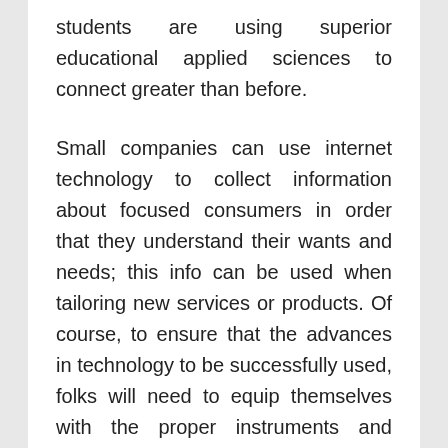students are using superior educational applied sciences to connect greater than before.
Small companies can use internet technology to collect information about focused consumers in order that they understand their wants and needs; this info can be used when tailoring new services or products. Of course, to ensure that the advances in technology to be successfully used, folks will need to equip themselves with the proper instruments and equipment.
As part of the curriculum in my Environmental Sociology class, college students are